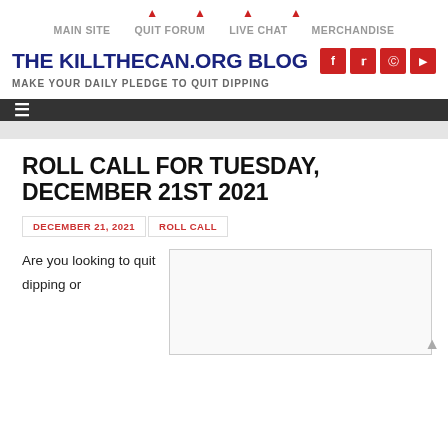MAIN SITE   QUIT FORUM   LIVE CHAT   MERCHANDISE
THE KILLTHECAN.ORG BLOG
MAKE YOUR DAILY PLEDGE TO QUIT DIPPING
≡
ROLL CALL FOR TUESDAY, DECEMBER 21ST 2021
DECEMBER 21, 2021   ROLL CALL
Are you looking to quit dipping or